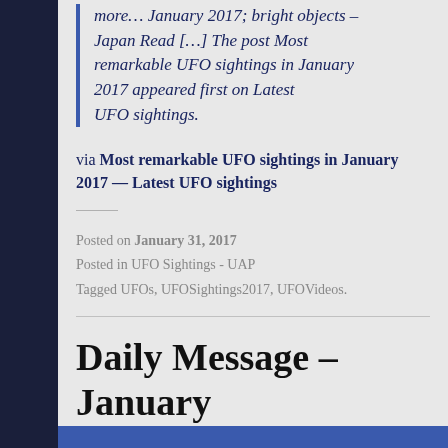more… January 2017; bright objects – Japan Read […] The post Most remarkable UFO sightings in January 2017 appeared first on Latest UFO sightings.
via Most remarkable UFO sightings in January 2017 — Latest UFO sightings
Posted on January 31, 2017
Posted in UFO Sightings - UAP
Tagged UFOs, UFOSightings2017, UFOVideos.
Daily Message – January 31, 2017